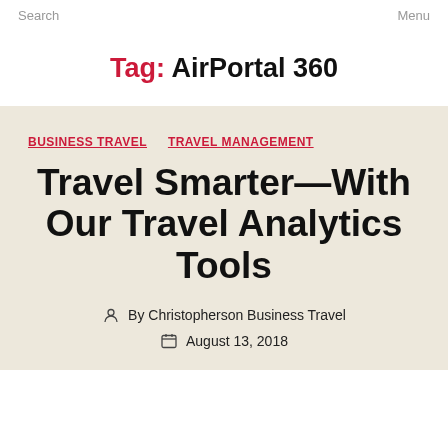Search   Menu
Tag: AirPortal 360
BUSINESS TRAVEL  TRAVEL MANAGEMENT
Travel Smarter—With Our Travel Analytics Tools
By Christopherson Business Travel
August 13, 2018